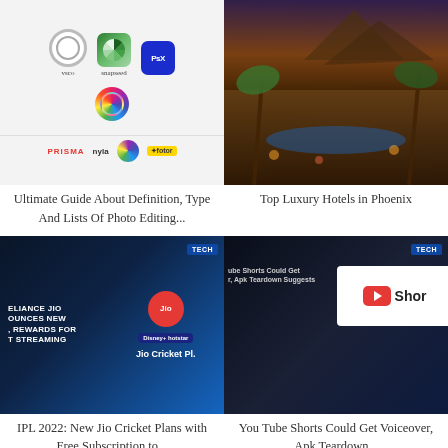[Figure (screenshot): Photo editing app icons grid: VSCO, Snapseed, Photoshop Express (PsX), a camera app, and partial row showing Prisma, Nyla, and Fotor app icons]
[Figure (photo): Outdoor luxury hotel pool area with palm trees, mountains in background at dusk/evening, warm lighting]
Ultimate Guide About Definition, Type And Lists Of Photo Editing...
Top Luxury Hotels in Phoenix
[Figure (screenshot): Reliance Jio cricket plans announcement image showing text RELIANCE JIO ANNOUNCES NEW REWARDS FOR LIVE STREAMING with Jio logo, Disney+ Hotstar badge, and Jio Cricket Plans text]
[Figure (screenshot): YouTube Shorts announcement image showing YouTube Shorts logo on a white card against dark background, with text YouTube Shorts Could Get Voiceover, Apk Teardown Suggests]
IPL 2022: New Jio Cricket Plans with Free Subscription to...
You Tube Shorts Could Get Voiceover, Apk Teardown...
[Figure (screenshot): Partial tech article thumbnail at bottom left, dark blue background]
[Figure (screenshot): Partial tech article thumbnail at bottom right, dark background]